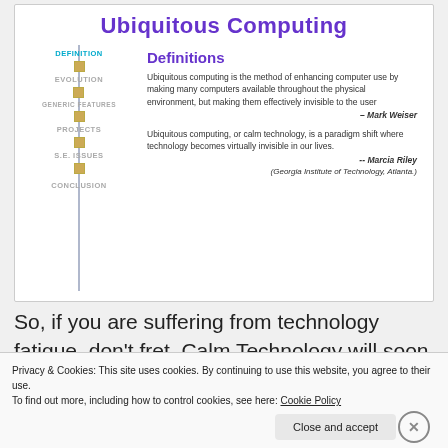Ubiquitous Computing
[Figure (infographic): Navigation menu with items: DEFINITION (active, teal), EVOLUTION, GENERIC FEATURES, PROJECTS, S.E. ISSUES, CONCLUSION, connected by a vertical line with gold square dots]
Definitions
Ubiquitous computing is the method of enhancing computer use by making many computers available throughout the physical environment, but making them effectively invisible to the user
– Mark Weiser
Ubiquitous computing, or calm technology, is a paradigm shift where technology becomes virtually invisible in our lives.
-- Marcia Riley
(Georgia Institute of Technology, Atlanta.)
So, if you are suffering from technology fatigue, don't fret. Calm Technology will soon have your back!
Privacy & Cookies: This site uses cookies. By continuing to use this website, you agree to their use.
To find out more, including how to control cookies, see here: Cookie Policy
Close and accept